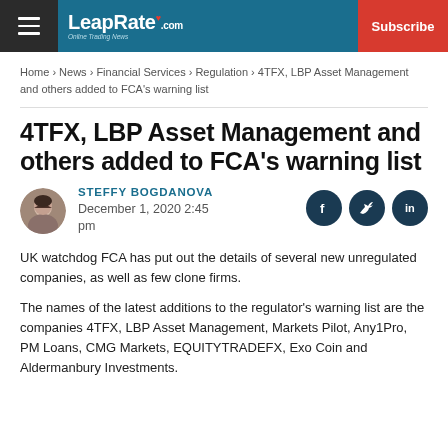LeapRate.com | Subscribe
Home › News › Financial Services › Regulation › 4TFX, LBP Asset Management and others added to FCA's warning list
4TFX, LBP Asset Management and others added to FCA's warning list
STEFFY BOGDANOVA
December 1, 2020 2:45 pm
UK watchdog FCA has put out the details of several new unregulated companies, as well as few clone firms.
The names of the latest additions to the regulator's warning list are the companies 4TFX, LBP Asset Management, Markets Pilot, Any1Pro, PM Loans, CMG Markets, EQUITYTRADEFX, Exo Coin and Aldermanbury Investments.